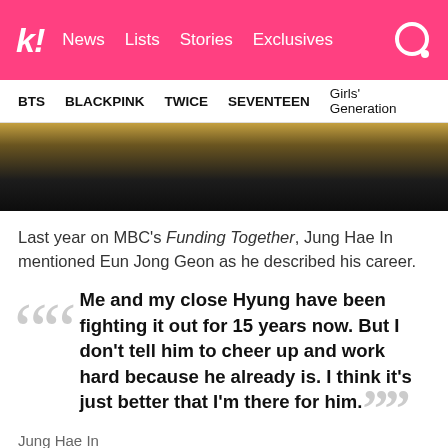k! News Lists Stories Exclusives
BTS BLACKPINK TWICE SEVENTEEN Girls' Generation
[Figure (photo): Person wearing a black hoodie, upper body visible, blurred yellow background]
Last year on MBC's Funding Together, Jung Hae In mentioned Eun Jong Geon as he described his career.
Me and my close Hyung have been fighting it out for 15 years now. But I don't tell him to cheer up and work hard because he already is. I think it's just better that I'm there for him.
Jung Hae In